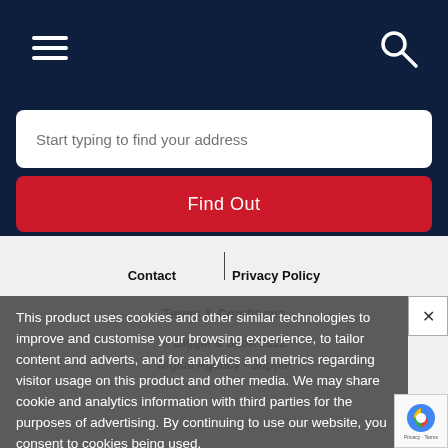[Figure (screenshot): Dark navy mobile website header with hamburger menu icon on left and search/magnifier icon on right]
Start typing to find your address
Find Out
Contact
Privacy Policy
Terms & Conditions
© Biggin & Scott 2022
Digital Agency - Supple
This product uses cookies and other similar technologies to improve and customise your browsing experience, to tailor content and adverts, and for analytics and metrics regarding visitor usage on this product and other media. We may share cookie and analytics information with third parties for the purposes of advertising. By continuing to use our website, you consent to cookies being used.